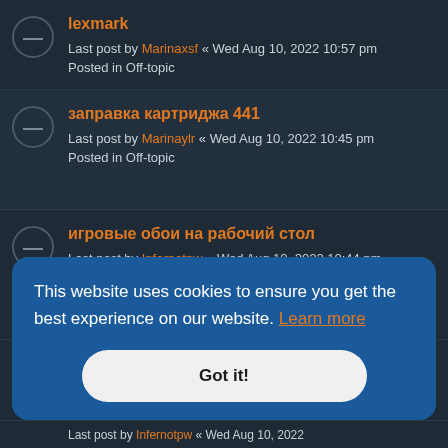lexmark — Last post by Marinaxsf « Wed Aug 10, 2022 10:57 pm — Posted in Off-topic
заправка картриджа 441 — Last post by Marinaylr « Wed Aug 10, 2022 10:45 pm — Posted in Off-topic
игровые обои на рабочий стол — Last post by Infernotpw « Wed Aug 10, 2022 10:44 pm — Posted in General
This website uses cookies to ensure you get the best experience on our website. Learn more
Got it!
Last post by Infernotpw « Wed Aug 10, 2022